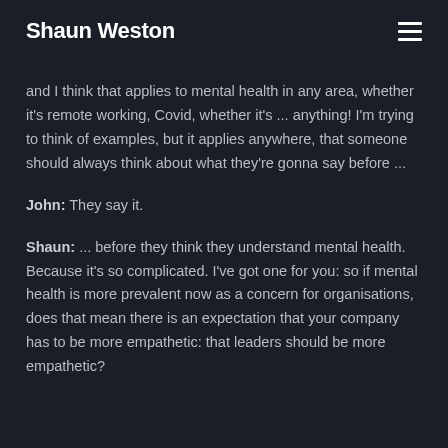Shaun Weston
and I think that applies to mental health in any area, whether it's remote working, Covid, whether it's ... anything! I'm trying to think of examples, but it applies anywhere, that someone should always think about what they're gonna say before ...
John: They say it.
Shaun: ... before they think they understand mental health. Because it's so complicated. I've got one for you: so if mental health is more prevalent now as a concern for organisations, does that mean there is an expectation that your company has to be more empathetic: that leaders should be more empathetic?